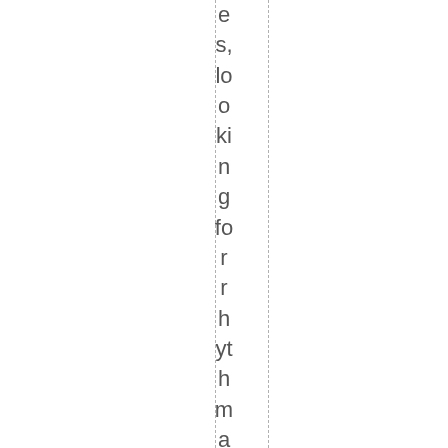es, looking for rhythm and feeling. My col